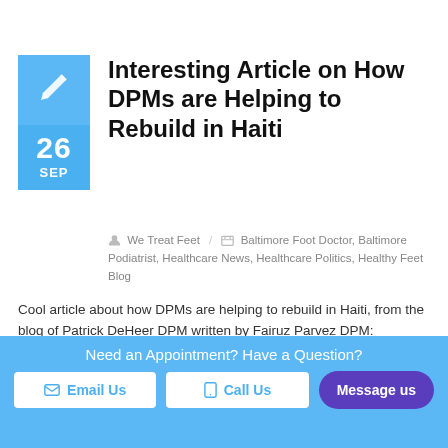Interesting Article on How DPMs are Helping to Rebuild in Haiti
We Treat Feet / Baltimore Foot Doctor, Baltimore Podiatrist, Healthcare News, Healthcare Politics, Healthy Feet Blog
Cool article about how DPMs are helping to rebuild in Haiti, from the blog of Patrick DeHeer DPM written by Fairuz Parvez DPM:
When asked about my experience in Haiti, at first I did not know where to begin. If I were to sum it up in a word, it would be: shocking.
Need an Appointment? Have a Question?
Email Us
Call Us
Message us